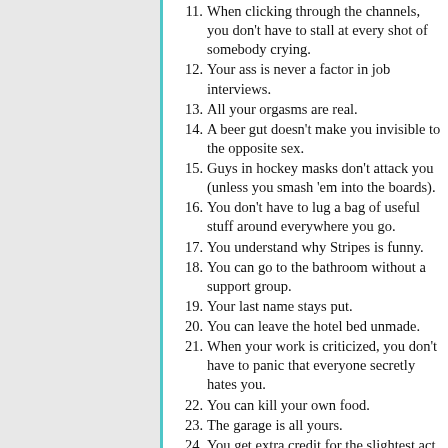11. When clicking through the channels, you don't have to stall at every shot of somebody crying.
12. Your ass is never a factor in job interviews.
13. All your orgasms are real.
14. A beer gut doesn't make you invisible to the opposite sex.
15. Guys in hockey masks don't attack you (unless you smash 'em into the boards).
16. You don't have to lug a bag of useful stuff around everywhere you go.
17. You understand why Stripes is funny.
18. You can go to the bathroom without a support group.
19. Your last name stays put.
20. You can leave the hotel bed unmade.
21. When your work is criticized, you don't have to panic that everyone secretly hates you.
22. You can kill your own food.
23. The garage is all yours.
24. You get extra credit for the slightest act of thoughtfulness.
25. You see the humor in Terms of Endearment.
26. Nobody secretly wonders whether you swallow.
27. You never have to clean a toilet.
28. You can be showered and ready to go in 10